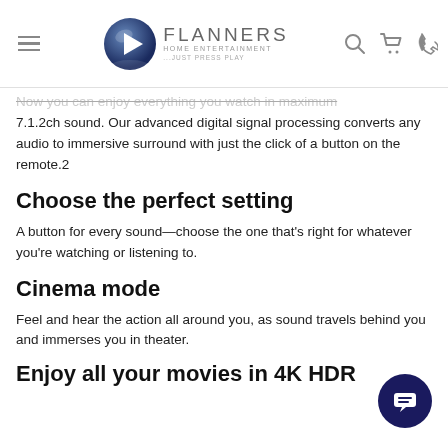FLANNERS HOME ENTERTAINMENT ...JUST PRESS PLAY
Now you can enjoy everything you watch in maximum 7.1.2ch sound. Our advanced digital signal processing converts any audio to immersive surround with just the click of a button on the remote.2
Choose the perfect setting
A button for every sound—choose the one that's right for whatever you're watching or listening to.
Cinema mode
Feel and hear the action all around you, as sound travels behind you and immerses you in theater.
Enjoy all your movies in 4K HDR